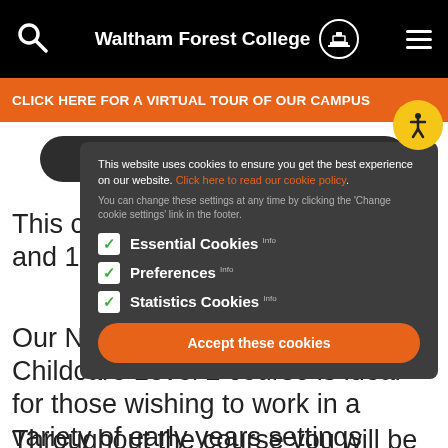Waltham Forest College
CLICK HERE FOR A VIRTUAL TOUR OF OUR CAMPUS
Download Course Leaflet
This course is designed for 16-19 and 19+ year olds.
Our NCFE CACHE Certificate in Childcare Level 2 course is ideal for those wishing to work in a variety of early years settings under supervision.
Throughout the course you will be trained and
This website uses cookies to ensure you get the best experience on our website. Click here to read our cookie policy.
You can change these settings at any time by clicking the 'Change cookie settings' link in the footer.
Essential Cookies Info
Preferences Info
Statistics Cookies Info
Accept these cookies